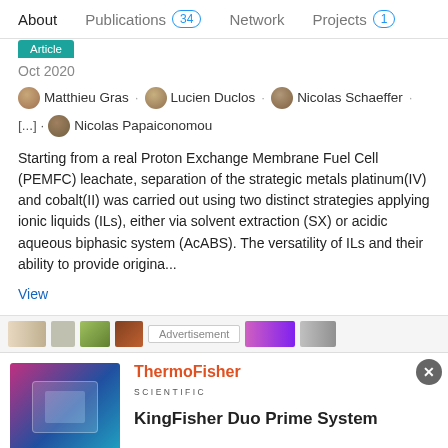About  Publications 34  Network  Projects 1
Article
Oct 2020
Matthieu Gras · Lucien Duclos · Nicolas Schaeffer · [...] · Nicolas Papaiconomou
Starting from a real Proton Exchange Membrane Fuel Cell (PEMFC) leachate, separation of the strategic metals platinum(IV) and cobalt(II) was carried out using two distinct strategies applying ionic liquids (ILs), either via solvent extraction (SX) or acidic aqueous biphasic system (AcABS). The versatility of ILs and their ability to provide origina...
View
[Figure (screenshot): Advertisement banner strip with small scientific images and 'Advertisement' label in center]
[Figure (screenshot): ThermoFisher Scientific advertisement showing KingFisher Duo Prime System with product image on left]